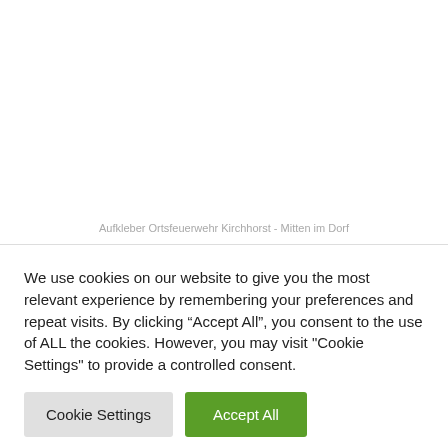Aufkleber Ortsfeuerwehr Kirchhorst - Mitten im Dorf
We use cookies on our website to give you the most relevant experience by remembering your preferences and repeat visits. By clicking “Accept All”, you consent to the use of ALL the cookies. However, you may visit "Cookie Settings" to provide a controlled consent.